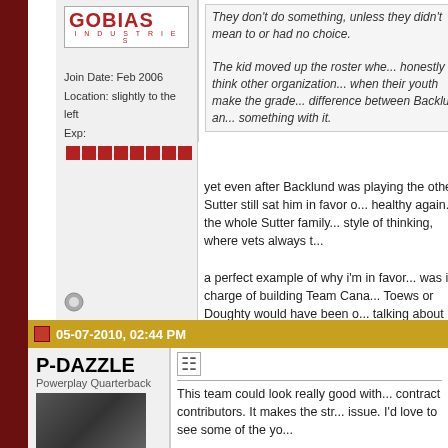[Figure (logo): Gobias Industries logo in red text]
Join Date: Feb 2006
Location: slightly to the left
Exp: [red bars]
They don't do something, unless they didn't mean to or had no choice.
The kid moved up the roster whe... honestly think other organization... when their youth make the grade... difference between Backlund an... something with it.
yet even after Backlund was playing the other Sutter still sat him in favor o... healthy again. the whole Sutter family... style of thinking, where vets always t...
a perfect example of why i'm in favor... was in charge of building Team Cana... Toews or Doughty would have been o... talking about culture change in the FI... but they're still not ready to make the...
05-07-2010, 02:44 PM
P-DAZZLE
Powerplay Quarterback
This team could look really good with... contract contributors. It makes the str... issue. I'd love to see some of the yo...